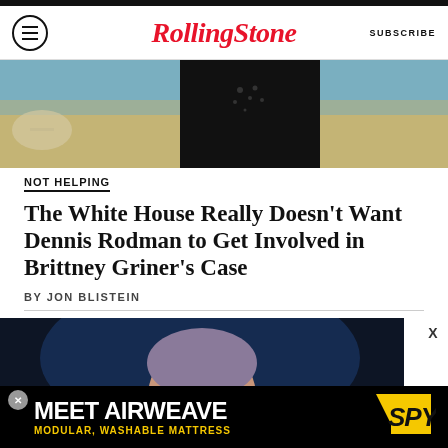RollingStone | SUBSCRIBE
[Figure (photo): Partial view of a person wearing a black outfit, photographed at a beach setting with blue water and sandy shore in the background]
NOT HELPING
The White House Really Doesn't Want Dennis Rodman to Get Involved in Brittney Griner's Case
BY JON BLISTEIN
[Figure (photo): Person with glasses and hair pulled back, photographed in low light with blue background, appearing to be at a formal event]
[Figure (other): Advertisement banner: MEET AIRWEAVE MODULAR, WASHABLE MATTRESS with SPY logo]